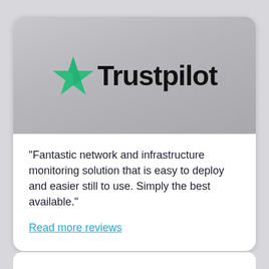[Figure (logo): Trustpilot logo with green star and bold black text 'Trustpilot' on a grey gradient background]
“Fantastic network and infrastructure monitoring solution that is easy to deploy and easier still to use. Simply the best available.”
Read more reviews